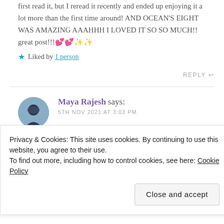first read it, but I reread it recently and ended up enjoying it a lot more than the first time around! AND OCEAN'S EIGHT WAS AMAZING AAAHHH I LOVED IT SO SO MUCH!! great post!!! 💕 💕 ✨ ✨
★ Liked by 1 person
REPLY ↩
Maya Rajesh says: 5TH NOV 2021 AT 3:03 PM
Privacy & Cookies: This site uses cookies. By continuing to use this website, you agree to their use.
To find out more, including how to control cookies, see here: Cookie Policy